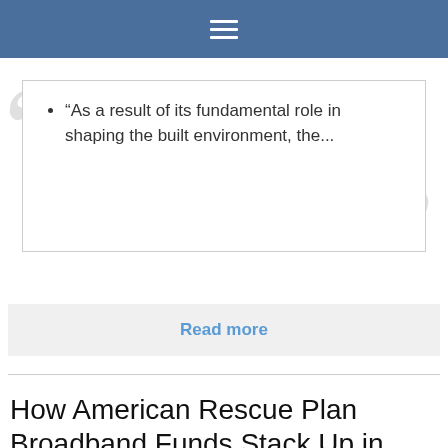≡
“As a result of its fundamental role in shaping the built environment, the...
Read more
How American Rescue Plan Broadband Funds Stack Up in